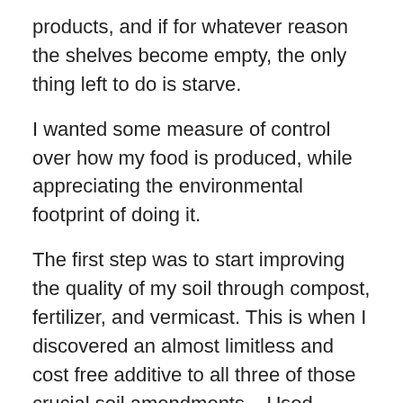products, and if for whatever reason the shelves become empty, the only thing left to do is starve.
I wanted some measure of control over how my food is produced, while appreciating the environmental footprint of doing it.
The first step was to start improving the quality of my soil through compost, fertilizer, and vermicast. This is when I discovered an almost limitless and cost free additive to all three of those crucial soil amendments – Used Coffee Grounds.
Since March 2010, I have collected over 2 tonnes of used coffee grounds, and it has all been used in my compost bin, dug into raised garden beds, around the base of fruit trees, liberally sprinkled over the lawn, or handed out to